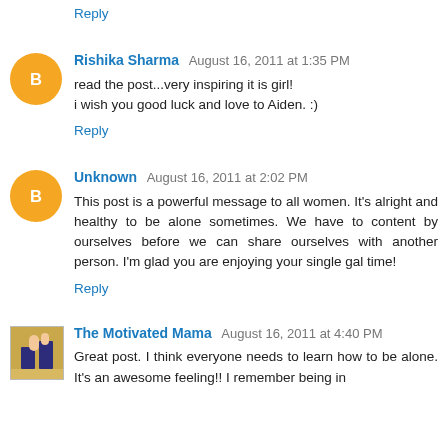Reply
Rishika Sharma August 16, 2011 at 1:35 PM
read the post...very inspiring it is girl!
i wish you good luck and love to Aiden. :)
Reply
Unknown August 16, 2011 at 2:02 PM
This post is a powerful message to all women. It's alright and healthy to be alone sometimes. We have to content by ourselves before we can share ourselves with another person. I'm glad you are enjoying your single gal time!
Reply
The Motivated Mama August 16, 2011 at 4:40 PM
Great post. I think everyone needs to learn how to be alone. It's an awesome feeling!! I remember being in